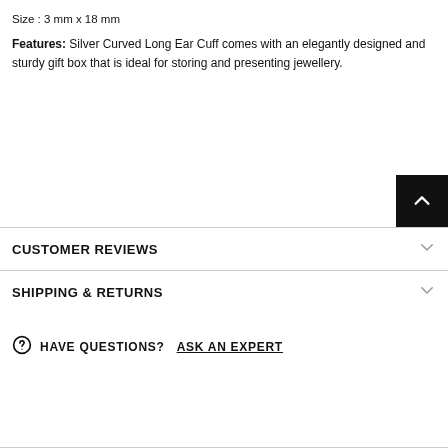Size : 3 mm x 18 mm
Features: Silver Curved Long Ear Cuff comes with an elegantly designed and sturdy gift box that is ideal for storing and presenting jewellery.
CUSTOMER REVIEWS
SHIPPING & RETURNS
HAVE QUESTIONS? ASK AN EXPERT